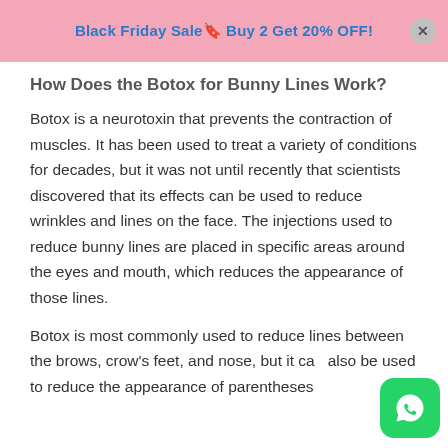Black Friday Sale🔖 Buy 2 Get 20% OFF!
How Does the Botox for Bunny Lines Work?
Botox is a neurotoxin that prevents the contraction of muscles. It has been used to treat a variety of conditions for decades, but it was not until recently that scientists discovered that its effects can be used to reduce wrinkles and lines on the face. The injections used to reduce bunny lines are placed in specific areas around the eyes and mouth, which reduces the appearance of those lines.
Botox is most commonly used to reduce lines between the brows, crow's feet, and nose, but it can also be used to reduce the appearance of parentheses